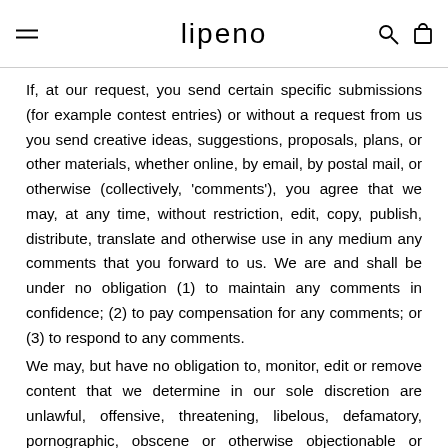lipeno
If, at our request, you send certain specific submissions (for example contest entries) or without a request from us you send creative ideas, suggestions, proposals, plans, or other materials, whether online, by email, by postal mail, or otherwise (collectively, 'comments'), you agree that we may, at any time, without restriction, edit, copy, publish, distribute, translate and otherwise use in any medium any comments that you forward to us. We are and shall be under no obligation (1) to maintain any comments in confidence; (2) to pay compensation for any comments; or (3) to respond to any comments.
We may, but have no obligation to, monitor, edit or remove content that we determine in our sole discretion are unlawful, offensive, threatening, libelous, defamatory, pornographic, obscene or otherwise objectionable or violates any party's intellectual property or these Terms of Service.
You agree that your comments will not violate any right of any third-party, including copyright, trademark, privacy, personality